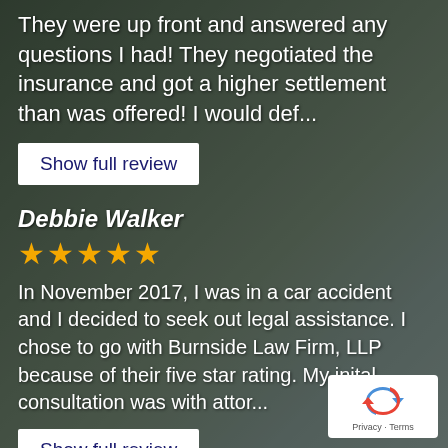They were up front and answered any questions I had! They negotiated the insurance and got a higher settlement than was offered! I would def...
Show full review
Debbie Walker
★★★★★
In November 2017, I was in a car accident and I decided to seek out legal assistance. I chose to go with Burnside Law Firm, LLP because of their five star rating. My inital consultation was with attor...
Show full review
Rick Estep
★★★★★
[Figure (logo): Google reCAPTCHA privacy badge with rotating arrows icon and Privacy - Terms text]